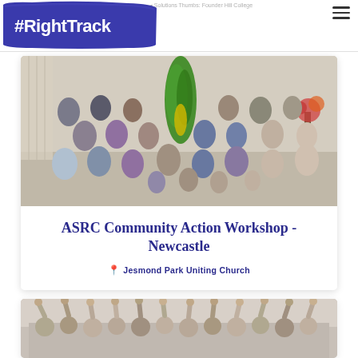◂ Solutions Thumbs: Founder Hill College
[Figure (logo): #RightTrack logo — white text on blue/purple brushstroke background]
[Figure (photo): Group photo of approximately 40 adults and children standing together in a community hall with a green leaf artwork hanging in the background and flowers on the right]
ASRC Community Action Workshop - Newcastle
📍  Jesmond Park Uniting Church
[Figure (photo): Group of people with hands raised together in a team gesture, partial view cropped at bottom of page]